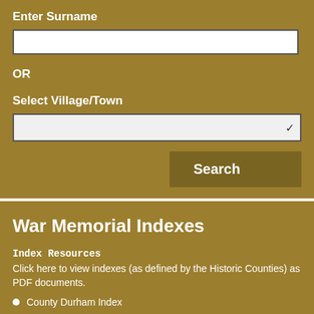Enter Surname
OR
Select Village/Town
Search
War Memorial Indexes
Index Resources
Click here to view indexes (as defined by the Historic Counties) as PDF documents.
County Durham Index